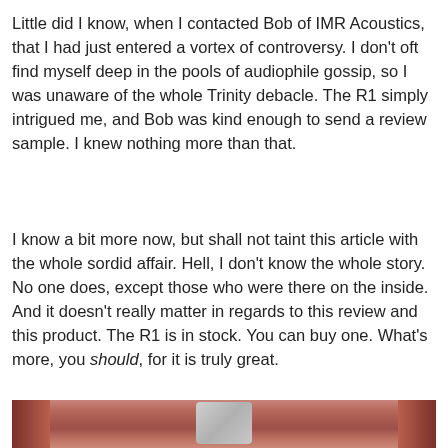Little did I know, when I contacted Bob of IMR Acoustics, that I had just entered a vortex of controversy. I don't oft find myself deep in the pools of audiophile gossip, so I was unaware of the whole Trinity debacle. The R1 simply intrigued me, and Bob was kind enough to send a review sample. I knew nothing more than that.
I know a bit more now, but shall not taint this article with the whole sordid affair. Hell, I don't know the whole story. No one does, except those who were there on the inside. And it doesn't really matter in regards to this review and this product. The R1 is in stock. You can buy one. What's more, you should, for it is truly great.
[Figure (photo): Photo of IMR Acoustics R1 earphones on a wooden surface, showing the metallic housing from above]